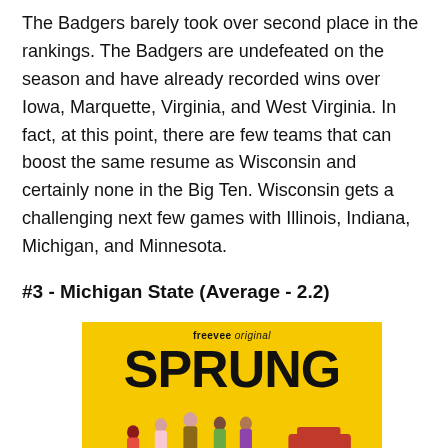The Badgers barely took over second place in the rankings. The Badgers are undefeated on the season and have already recorded wins over Iowa, Marquette, Virginia, and West Virginia. In fact, at this point, there are few teams that can boost the same resume as Wisconsin and certainly none in the Big Ten. Wisconsin gets a challenging next few games with Illinois, Indiana, Michigan, and Minnesota.
#3 - Michigan State (Average - 2.2)
[Figure (photo): Promotional image for 'Sprung', a freevee original show. Yellow background with the word SPRUNG in large bold black letters and a group of characters/cast members standing together.]